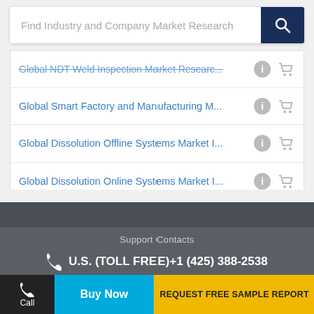[Figure (screenshot): Search bar with placeholder text 'Find Industry and Company Market Research' and dark blue search button with magnifying glass icon]
Global NDT Weld Inspection Market Researc...
Global Smart Factory and Manufacturing M...
Global Dissolution Offline Systems Market I...
Global Dissolution Online Systems Market I...
Support Contacts
U.S. (TOLL FREE)+1 (425) 388-2538
sales@valuates.com
THE COMPANY
OUR PRODUCTS
Call | Buy Now | REQUEST FREE SAMPLE REPORT